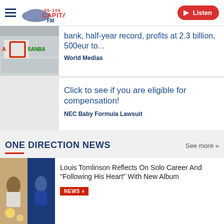Capital FM 95-106 | Listen
[Figure (screenshot): Santander bank sign photo – partial, showing green Santander logo on building facade]
bank, half-year record, profits at 2.3 billion, 500eur to...
World Medias
Click to see if you are eligible for compensation!
NEC Baby Formula Lawsuit
ONE DIRECTION NEWS
See more »
[Figure (photo): Louis Tomlinson performing on stage – two photos side by side, one lit warmly and one with blue lighting]
Louis Tomlinson Reflects On Solo Career And "Following His Heart" With New Album
NEWS »